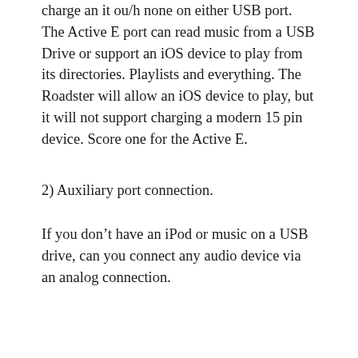charge an it ou/h none on either USB port. The Active E port can read music from a USB Drive or support an iOS device to play from its directories. Playlists and everything. The Roadster will allow an iOS device to play, but it will not support charging a modern 15 pin device. Score one for the Active E.
2) Auxiliary port connection.
If you don’t have an iPod or music on a USB drive, can you connect any audio device via an analog connection. Both the Model S and Roadster is a no. However, the Active E includes that in its package. This means that you can even bring a cassette player in the car... Not that I ever did, but I could have.
3) Sirius Radio.
The Model S can get Sirius XM on it. However, you